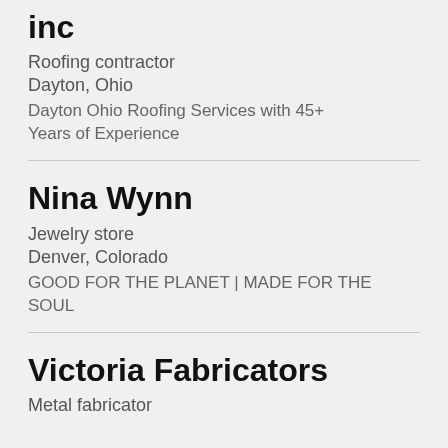inc
Roofing contractor
Dayton, Ohio
Dayton Ohio Roofing Services with 45+ Years of Experience
Nina Wynn
Jewelry store
Denver, Colorado
GOOD FOR THE PLANET | MADE FOR THE SOUL
Victoria Fabricators
Metal fabricator